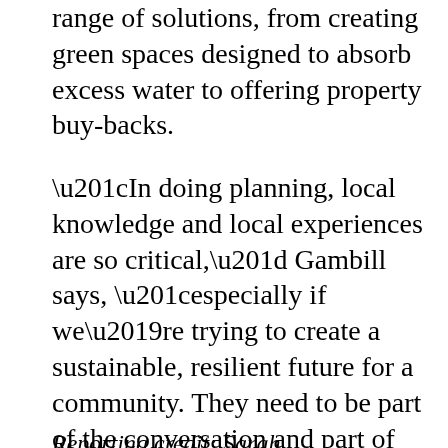range of solutions, from creating green spaces designed to absorb excess water to offering property buy-backs.
“In doing planning, local knowledge and local experiences are so critical,” Gambill says, “especially if we’re trying to create a sustainable, resilient future for a community. They need to be part of the conversation and part of the solutions that we’re developing.”
[Figure (other): Audio Player Embed Code button with yellow left bar and black background]
Reporting credit: Sarah